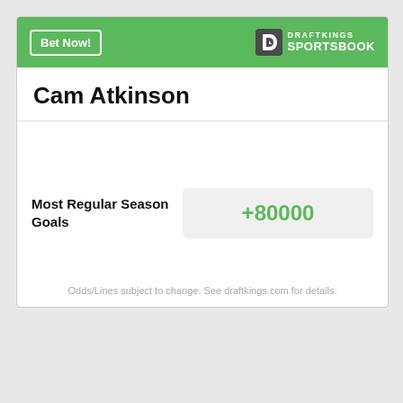Bet Now! | DRAFTKINGS SPORTSBOOK
Cam Atkinson
Most Regular Season Goals
+80000
Odds/Lines subject to change. See draftkings.com for details.